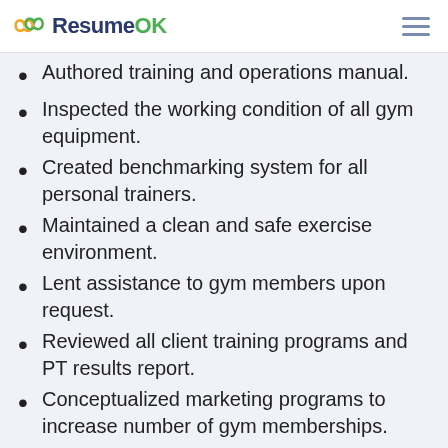ResumeOK
Authored training and operations manual.
Inspected the working condition of all gym equipment.
Created benchmarking system for all personal trainers.
Maintained a clean and safe exercise environment.
Lent assistance to gym members upon request.
Reviewed all client training programs and PT results report.
Conceptualized marketing programs to increase number of gym memberships.